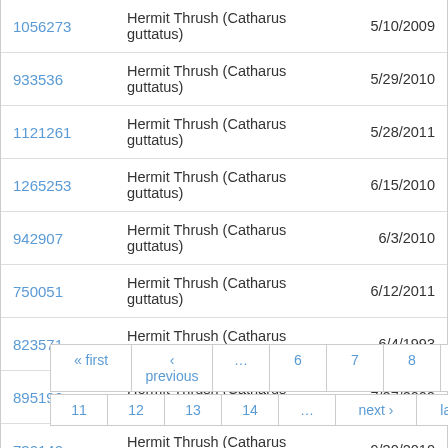| ID | Species | Date |
| --- | --- | --- |
| 1056273 | Hermit Thrush (Catharus guttatus) | 5/10/2009 |
| 933536 | Hermit Thrush (Catharus guttatus) | 5/29/2010 |
| 1121261 | Hermit Thrush (Catharus guttatus) | 5/28/2011 |
| 1265253 | Hermit Thrush (Catharus guttatus) | 6/15/2010 |
| 942907 | Hermit Thrush (Catharus guttatus) | 6/3/2010 |
| 750051 | Hermit Thrush (Catharus guttatus) | 6/12/2011 |
| 823571 | Hermit Thrush (Catharus guttatus) | 6/4/1993 |
| 895190 | Hermit Thrush (Catharus guttatus) | 7/27/2009 |
| 730140 | Hermit Thrush (Catharus guttatus) | 9/30/2010 |
| 1099329 | Hermit Thrush (Catharus guttatus) | 5/29/2010 |
Pagination: « first ‹ previous … 6 7 8 9 10 (active) 11 12 13 14 … next › last »